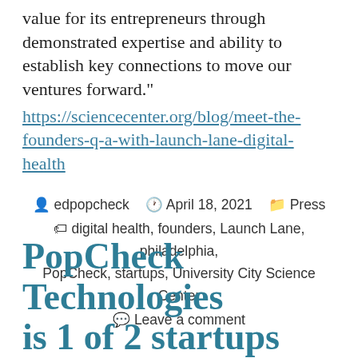value for its entrepreneurs through demonstrated expertise and ability to establish key connections to move our ventures forward."
https://sciencecenter.org/blog/meet-the-founders-q-a-with-launch-lane-digital-health
edpopcheck  April 18, 2021  Press  digital health, founders, Launch Lane, philadelphia, PopCheck, startups, University City Science Center  Leave a comment
PopCheck Technologies is 1 of 2 startups